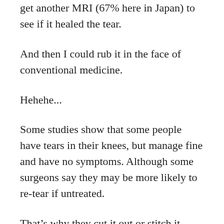get another MRI (67% here in Japan) to see if it healed the tear.
And then I could rub it in the face of conventional medicine.
Hehehe...
Some studies show that some people have tears in their knees, but manage fine and have no symptoms. Although some surgeons say they may be more likely to re-tear if untreated.
That's why they cut it out or stitch it.
And I would also look into PRP, stem cells or peptides to help it heal.